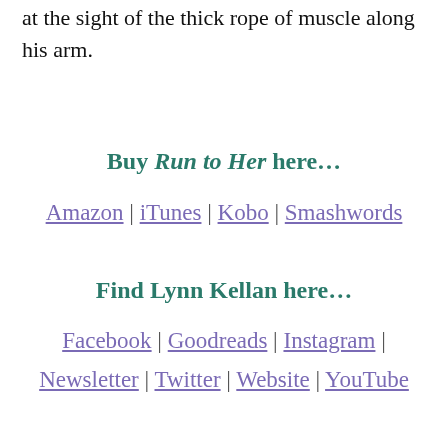at the sight of the thick rope of muscle along his arm.
Buy Run to Her here…
Amazon | iTunes | Kobo | Smashwords
Find Lynn Kellan here…
Facebook | Goodreads | Instagram | Newsletter | Twitter | Website | YouTube